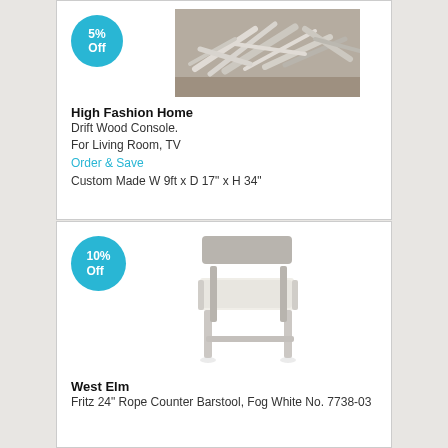5% Off
[Figure (photo): Driftwood console pieces arranged on a shelf]
High Fashion Home
Drift Wood Console.
For Living Room, TV
Order & Save
Custom Made W 9ft x D 17" x H 34"
10% Off
[Figure (photo): Fritz 24 inch counter barstool in fog white finish]
West Elm
Fritz 24" Rope Counter Barstool, Fog White No. 7738-03